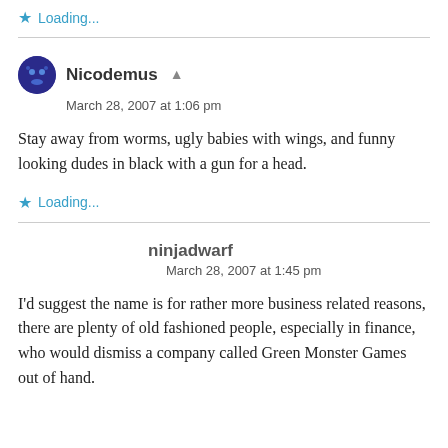Loading...
Nicodemus
March 28, 2007 at 1:06 pm
Stay away from worms, ugly babies with wings, and funny looking dudes in black with a gun for a head.
Loading...
ninjadwarf
March 28, 2007 at 1:45 pm
I'd suggest the name is for rather more business related reasons, there are plenty of old fashioned people, especially in finance, who would dismiss a company called Green Monster Games out of hand.